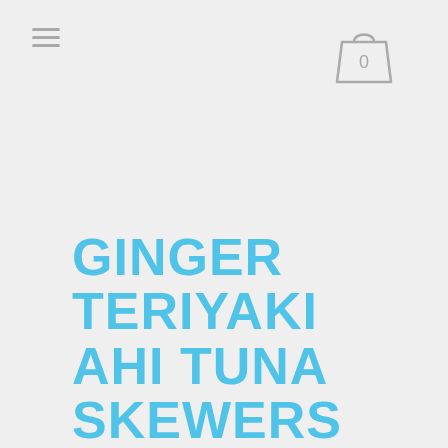[Figure (illustration): Hamburger menu icon (three horizontal lines) in gray]
[Figure (illustration): Shopping bag icon in gray with the number 0 inside]
GINGER TERIYAKI AHI TUNA SKEWERS